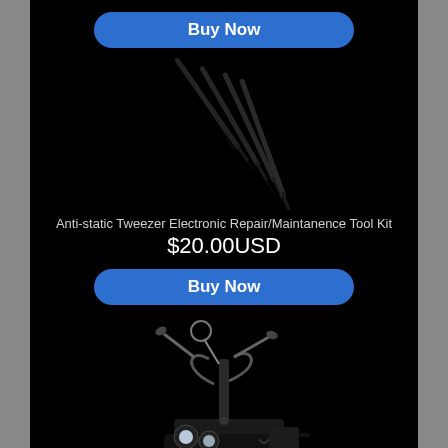[Figure (other): Buy Now button at top, blue rounded rectangle with white bold text]
[Figure (photo): Set of four black anti-static tweezers arranged diagonally on black background]
Anti-static Tweezer Electronic Repair/Maintanence Tool Kit
$20.00USD
[Figure (other): Buy Now button, blue rounded rectangle with white bold text]
[Figure (photo): Helping hands soldering station with magnifying glass and LED lights on black background]